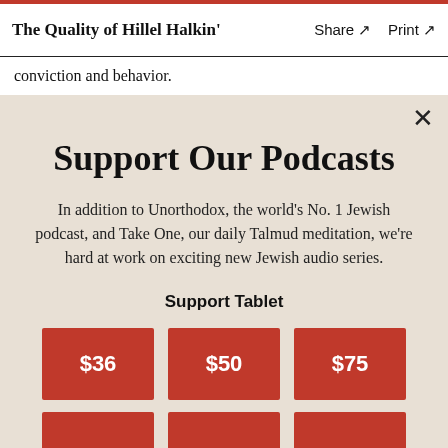The Quality of Hillel Halkin'  Share ↗  Print ↗
conviction and behavior.
Support Our Podcasts
In addition to Unorthodox, the world's No. 1 Jewish podcast, and Take One, our daily Talmud meditation, we're hard at work on exciting new Jewish audio series.
Support Tablet
$36  $50  $75